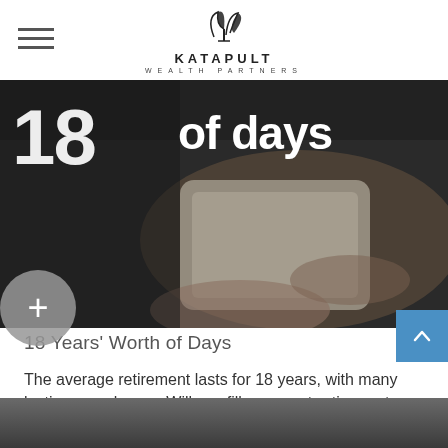[Figure (logo): Katapult Wealth Partners logo with leaf/plant icon above the text]
[Figure (photo): Hero image showing elderly hands holding a tablet, with large white text '18 of days' overlaid on a dark background]
18 Years' Worth of Days
The average retirement lasts for 18 years, with many lasting even longer. Will you fill your post-retirement days with purpose?